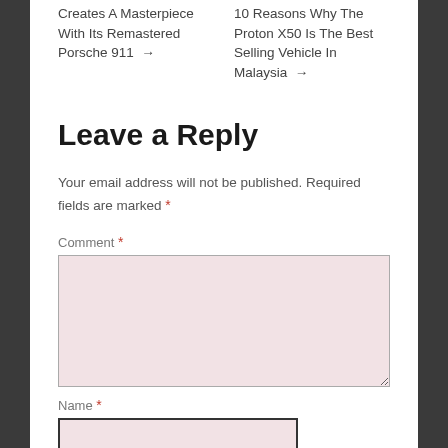Creates A Masterpiece With Its Remastered Porsche 911 →
10 Reasons Why The Proton X50 Is The Best Selling Vehicle In Malaysia →
Leave a Reply
Your email address will not be published. Required fields are marked *
Comment *
Name *
Email *